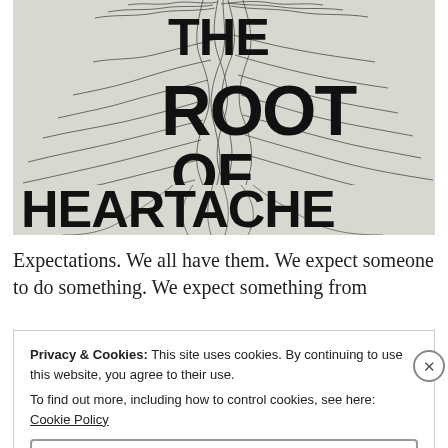[Figure (illustration): Book cover image with black and white artwork showing tangled tree roots/branches. Large bold distressed text reads: THE ROOT OF ALL HEARTACHE]
Expectations. We all have them. We expect someone to do something. We expect something from
Privacy & Cookies: This site uses cookies. By continuing to use this website, you agree to their use.
To find out more, including how to control cookies, see here: Cookie Policy
Close and accept